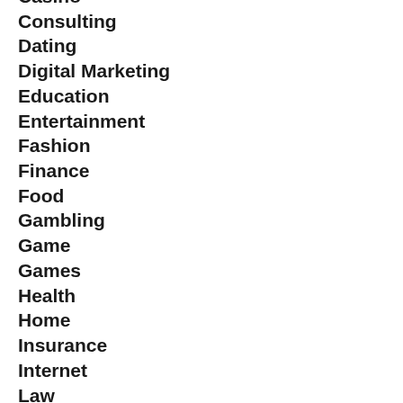Casino
Consulting
Dating
Digital Marketing
Education
Entertainment
Fashion
Finance
Food
Gambling
Game
Games
Health
Home
Insurance
Internet
Law
Movies
Pets
Poker